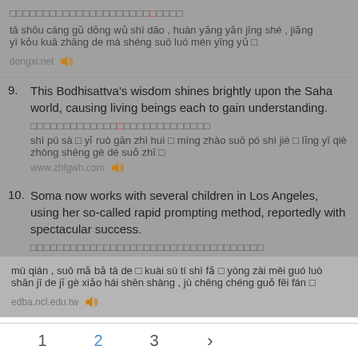tā shōu cáng gǔ dǒng wǔ shì dāo , huàn yǎng yǎn jīng shé , jiǎng yì kǒu kuā zhāng de má shéng suō luó mén yīng yǔ □
dongxi.net 🔊
9. This Bodhisattva's wisdom shines brightly upon the Saha world, causing living beings each to gain understanding.
□□□□□□□□□□□□□□□□□□□□□□□□□□□
shì pú sà □ yǐ ruò gān zhì huì □ míng zhào suō pó shì jiè □ lǐng yī qiè zhòng shēng gè dé suǒ zhī □
www.zhfgwh.com 🔊
10. Soma now works with several children in Los Angeles, using her so-called rapid prompting method, reportedly with spectacular success.
□□□□□□□□□□□□□□□□□□□□□□□□□□□□□□□□□□
mù qián , suō mǎ bǎ tā de □ kuài sù tí shì fǎ □ yòng zài měi guó luò shān jī de jǐ gè xiǎo hái shēn shàng , jù chēng chéng guǒ fēi fán □
edba.ncl.edu.tw 🔊
1  2  3  >